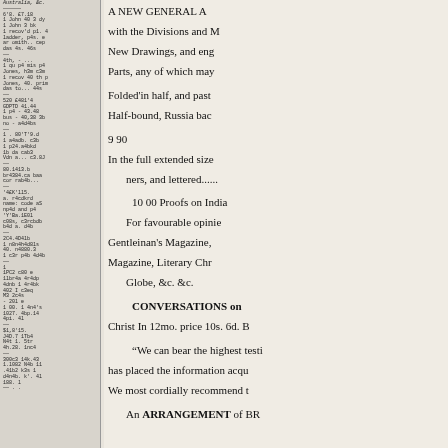[Figure (table-as-image): Left column strip showing a densely printed table or list in very small text with multiple rows of data entries]
A NEW GENERAL A
with the Divisions and M
New Drawings, and eng
Parts, any of which may
Folded'in half, and past
Half-bound, Russia bac
9 90
In the full extended size
ners, and lettered......
10 00 Proofs on India
For favourable opinie
Gentleinan's Magazine,
Magazine, Literary Chr
Globe, &c. &c.
CONVERSATIONS on
Christ In 12mo. price 10s. 6d. B
“We can bear the highest testi
has placed the information acqu
We most cordially recommend t
An ARRANGEMENT of BR